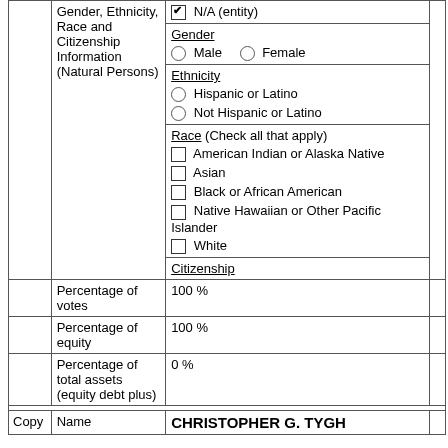|  | Gender, Ethnicity, Race and Citizenship Information (Natural Persons) | ☑ N/A (entity)
Gender
○ Male ○ Female
Ethnicity
○ Hispanic or Latino
○ Not Hispanic or Latino
Race (Check all that apply)
□ American Indian or Alaska Native
□ Asian
□ Black or African American
□ Native Hawaiian or Other Pacific Islander
□ White
Citizenship |  |
|  | Percentage of votes | 100 % |  |
|  | Percentage of equity | 100 % |  |
|  | Percentage of total assets (equity debt plus) | 0 % |  |
| Copy | Name | CHRISTOPHER G. TYGH |  |